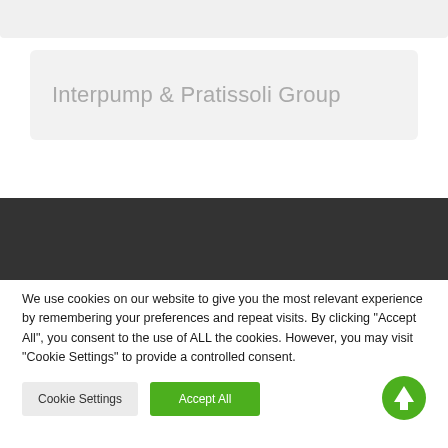[Figure (screenshot): Gray top navigation bar (partial, cropped at top)]
Interpump & Pratissoli Group
[Figure (screenshot): Dark gray/charcoal horizontal bar (partial website footer or navigation element)]
We use cookies on our website to give you the most relevant experience by remembering your preferences and repeat visits. By clicking "Accept All", you consent to the use of ALL the cookies. However, you may visit "Cookie Settings" to provide a controlled consent.
Cookie Settings
Accept All